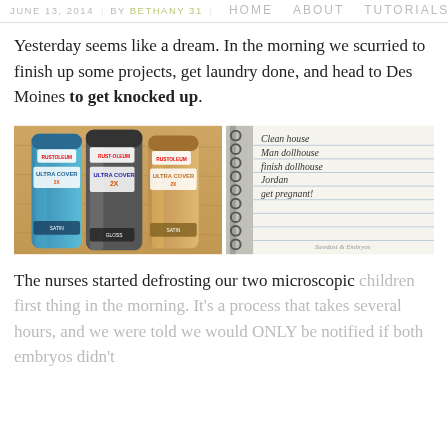JUNE 13, 2014 | BY BETHANY 31 | HOME ABOUT TUTORIALS RECIPES
Yesterday seems like a dream. In the morning we scurried to finish up some projects, get laundry done, and head to Des Moines to get knocked up.
[Figure (photo): Two photos side by side: left shows Rust-Oleum spray paint cans on a wood surface; right shows a spiral notebook with handwritten to-do list including items like 'clean house', 'finish dollhouse', 'get pregnant!']
The nurses started defrosting our two microscopic children first thing in the morning. It's a process that takes several hours, and we were told we would ONLY be notified if both embryos didn't